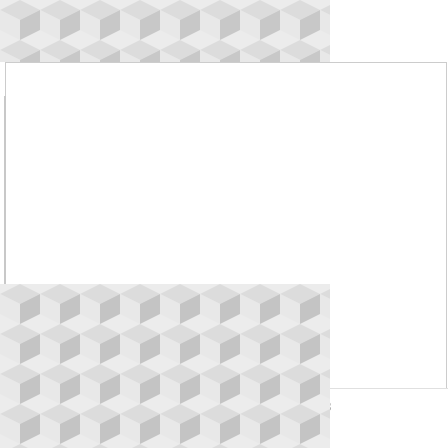[Figure (illustration): Geometric triangle/diamond mosaic pattern in light gray tones, used as a decorative background banner at the top of the page.]
^
[Figure (illustration): Empty white comment/post content area with a left border line indicating a collapsible thread.]
Anonymous  7 February 2022 at 11:53
v
[Figure (illustration): Geometric triangle/diamond mosaic pattern in light gray tones, used as a decorative background banner at the bottom of the page.]